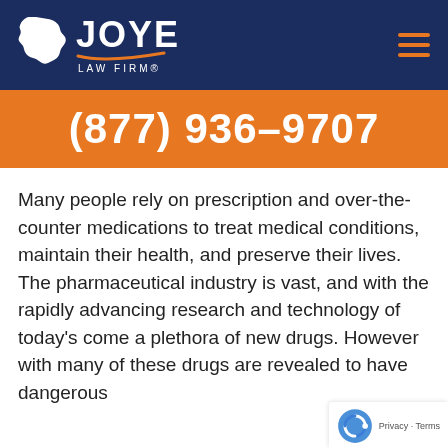[Figure (logo): Joye Law Firm logo with South Carolina state silhouette and orange swoosh, white text on dark navy background, hamburger menu icon on right]
(877) 936-9707
Many people rely on prescription and over-the-counter medications to treat medical conditions, maintain their health, and preserve their lives. The pharmaceutical industry is vast, and with the rapidly advancing research and technology of today's come a plethora of new drugs. However with many of these drugs are revealed to have dangerous